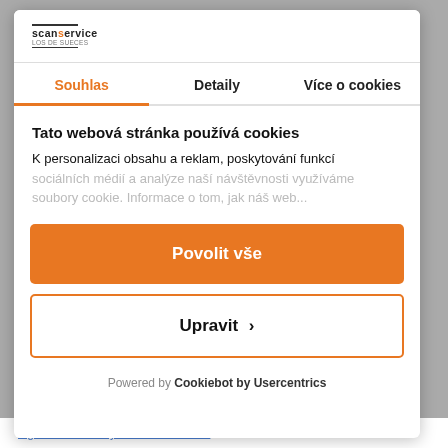[Figure (logo): Scanservice logo with orange dot and horizontal lines]
Souhlas	Detaily	Více o cookies
Tato webová stránka používá cookies
K personalizaci obsahu a reklam, poskytování funkcí sociálních médií a analýze naší návštěvnosti využíváme soubory cookie. Informace o tom, jak náš web...
Povolit vše
Upravit ›
Powered by Cookiebot by Usercentrics
digitization directly at the customer's